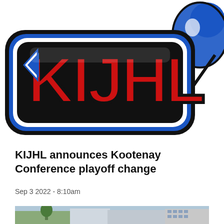[Figure (logo): KIJHL hockey league logo with red stylized lettering on blue and black outline, with a hockey player silhouette in blue and black on the right side]
KIJHL announces Kootenay Conference playoff change
Sep 3 2022 - 8:10am
[Figure (photo): Partial photo of a building or arena exterior, cropped at bottom of page]